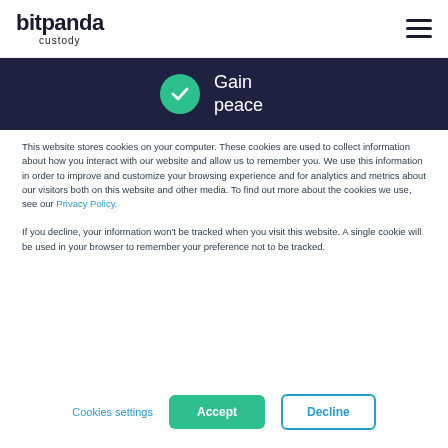bitpanda custody
[Figure (other): Dark navy banner with green checkmark circle and text 'Gain peace']
This website stores cookies on your computer. These cookies are used to collect information about how you interact with our website and allow us to remember you. We use this information in order to improve and customize your browsing experience and for analytics and metrics about our visitors both on this website and other media. To find out more about the cookies we use, see our Privacy Policy.
If you decline, your information won't be tracked when you visit this website. A single cookie will be used in your browser to remember your preference not to be tracked.
Cookies settings  Accept  Decline